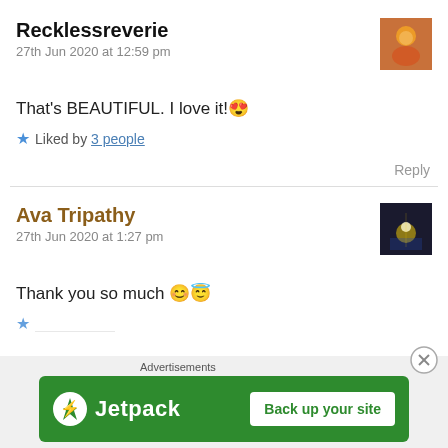Recklessreverie
27th Jun 2020 at 12:59 pm
That's BEAUTIFUL. I love it! 😍
★ Liked by 3 people
Reply
Ava Tripathy
27th Jun 2020 at 1:27 pm
Thank you so much 😊😇
Advertisements
[Figure (screenshot): Jetpack advertisement banner: green background with Jetpack logo on the left and 'Back up your site' button on the right]